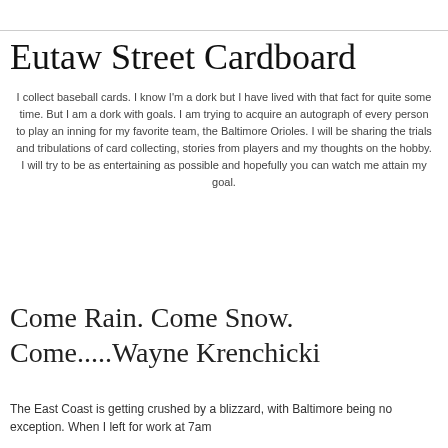Eutaw Street Cardboard
I collect baseball cards. I know I'm a dork but I have lived with that fact for quite some time. But I am a dork with goals. I am trying to acquire an autograph of every person to play an inning for my favorite team, the Baltimore Orioles. I will be sharing the trials and tribulations of card collecting, stories from players and my thoughts on the hobby. I will try to be as entertaining as possible and hopefully you can watch me attain my goal.
Saturday, December 19, 2009
Come Rain. Come Snow. Come.....Wayne Krenchicki
The East Coast is getting crushed by a blizzard, with Baltimore being no exception. When I left for work at 7am